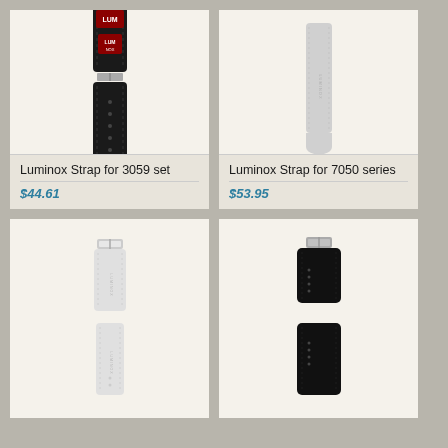[Figure (photo): Luminox black leather watch strap for 3059 set with Luminox logo badge and buckle]
Luminox Strap for 3059 set
$44.61
[Figure (photo): Luminox white rubber/silicone watch strap for 7050 series]
Luminox Strap for 7050 series
$53.95
[Figure (photo): Luminox white rubber watch strap with silver buckle, two-piece]
[Figure (photo): Luminox black rubber watch strap with silver buckle, two-piece]